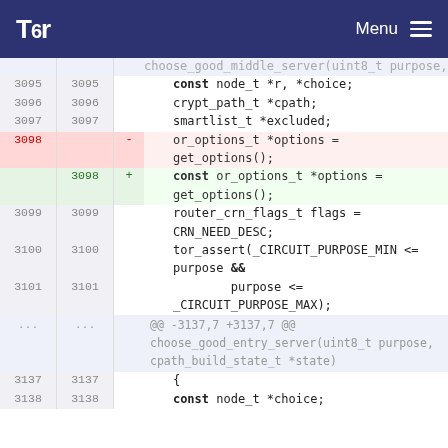Tor — Menu
[Figure (screenshot): Code diff view from the Tor Project website showing changes to choose_good_middle_server and choose_good_entry_server functions. Lines 3095-3101 and 3137-3138 are shown. Line 3098 is removed (or_options_t *options = get_options();) and replaced with (const or_options_t *options = get_options();).]